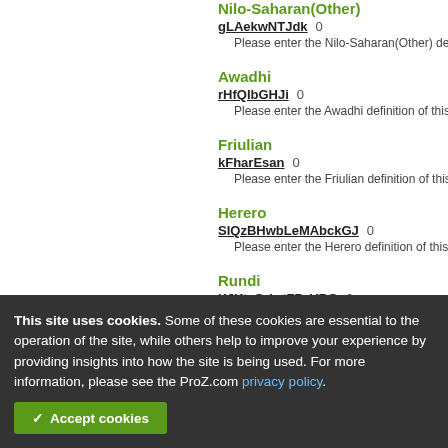Nilo-Saharan(Other)
gLAekwNTJdk 0
Please enter the Nilo-Saharan(Other) definitio…
Awadhi
rHfQIbGHJi 0
Please enter the Awadhi definition of this con…
Friulian
kFharEsan 0
Please enter the Friulian definition of this con…
Herero
SIQzBHwbLeMAbckGJ 0
Please enter the Herero definition of this con…
Rundi
XJKtzGrbrtZPzVRG 0
Oromo
Marathi
zk Cookie settings ui
Please enter the Marathi definition of this con…
This site uses cookies. Some of these cookies are essential to the operation of the site, while others help to improve your experience by providing insights into how the site is being used. For more information, please see the ProZ.com privacy policy.